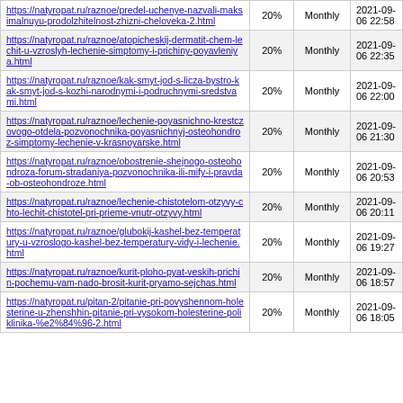| URL | Priority | Change Frequency | Last Modified |
| --- | --- | --- | --- |
| https://natyropat.ru/raznoe/predel-uchenye-nazvali-maksimalnuyu-prodolzhitelnost-zhizni-cheloveka-2.html | 20% | Monthly | 2021-09-06 22:58 |
| https://natyropat.ru/raznoe/atopicheskij-dermatit-chem-lechit-u-vzroslyh-lechenie-simptomy-i-prichiny-poyavleniya.html | 20% | Monthly | 2021-09-06 22:35 |
| https://natyropat.ru/raznoe/kak-smyt-jod-s-licza-bystro-kak-smyt-jod-s-kozhi-narodnymi-i-podruchnymi-sredstvami.html | 20% | Monthly | 2021-09-06 22:00 |
| https://natyropat.ru/raznoe/lechenie-poyasnichno-krestczovogo-otdela-pozvonochnika-poyasnichnyj-osteohondroz-simptomy-lechenie-v-krasnoyarske.html | 20% | Monthly | 2021-09-06 21:30 |
| https://natyropat.ru/raznoe/obostrenie-shejnogo-osteohondroza-forum-stradaniya-pozvonochnika-ili-mify-i-pravda-ob-osteohondroze.html | 20% | Monthly | 2021-09-06 20:53 |
| https://natyropat.ru/raznoe/lechenie-chistotelom-otzyvy-chto-lechit-chistotel-pri-prieme-vnutr-otzyvy.html | 20% | Monthly | 2021-09-06 20:11 |
| https://natyropat.ru/raznoe/glubokij-kashel-bez-temperatury-u-vzroslogo-kashel-bez-temperatury-vidy-i-lechenie.html | 20% | Monthly | 2021-09-06 19:27 |
| https://natyropat.ru/raznoe/kurit-ploho-pyat-veskih-prichin-pochemu-vam-nado-brosit-kurit-pryamo-sejchas.html | 20% | Monthly | 2021-09-06 18:57 |
| https://natyropat.ru/pitan-2/pitanie-pri-povyshennom-holesterine-u-zhenshhin-pitanie-pri-vysokom-holesterine-poliklinika-%e2%84%96-2.html | 20% | Monthly | 2021-09-06 18:05 |